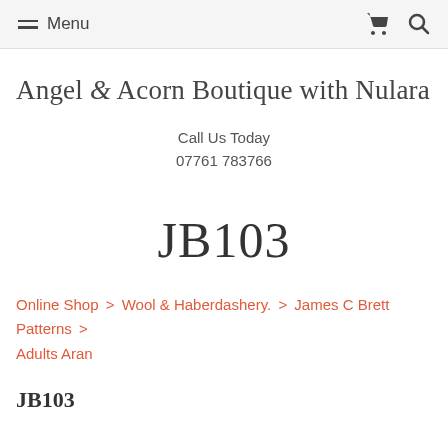≡ Menu
Angel & Acorn Boutique with Nulara Kni
Call Us Today
07761 783766
JB103
Online Shop > Wool & Haberdashery. > James C Brett Patterns > Adults Aran
JB103